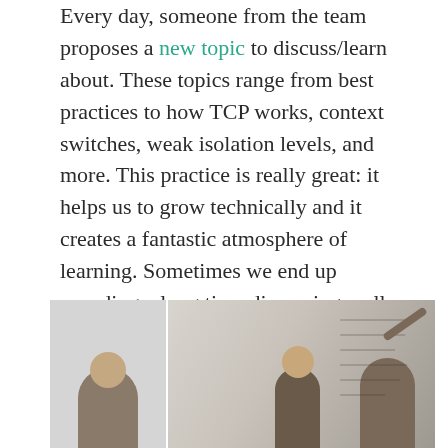Every day, someone from the team proposes a new topic to discuss/learn about. These topics range from best practices to how TCP works, context switches, weak isolation levels, and more. This practice is really great: it helps us to grow technically and it creates a fantastic atmosphere of learning. Sometimes we end up spending a long time discussing really difficult stuff. By the way, you can follow what we discuss on the ShuttleCloud engineering team Twitter account.
[Figure (photo): Two-panel photo: left panel shows a man sitting in profile view against a light brick wall; right panel shows people in a meeting room with someone writing on a whiteboard.]